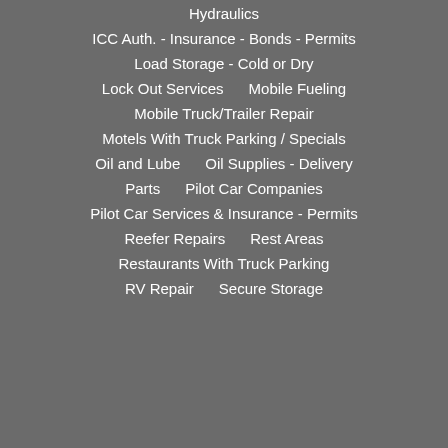Hydraulics
ICC Auth. - Insurance - Bonds - Permits
Load Storage - Cold or Dry
Lock Out Services     Mobile Fueling
Mobile Truck/Trailer Repair
Motels With Truck Parking / Specials
Oil and Lube     Oil Supplies - Delivery
Parts     Pilot Car Companies
Pilot Car Services & Insurance - Permits
Reefer Repairs     Rest Areas
Restaurants With Truck Parking
RV Repair     Secure Storage